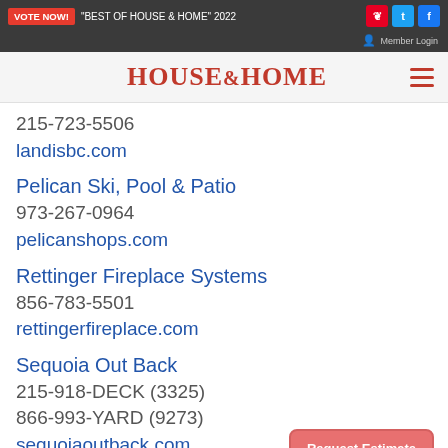VOTE NOW! "BEST OF HOUSE & HOME" 2022
[Figure (logo): House & Home magazine logo in red serif font]
215-723-5506
landisbc.com
Pelican Ski, Pool & Patio
973-267-0964
pelicanshops.com
Rettinger Fireplace Systems
856-783-5501
rettingerfireplace.com
Sequoia Out Back
215-918-DECK (3325)
866-993-YARD (9273)
sequoiaoutback.com